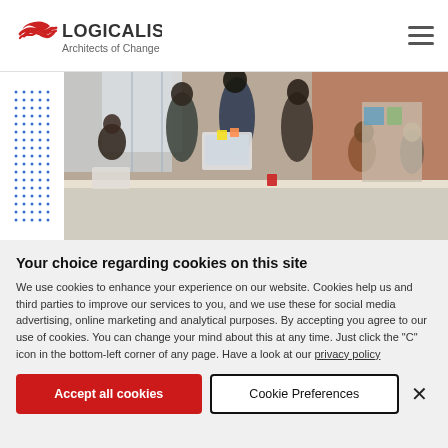LOGICALIS Architects of Change
[Figure (photo): Office photo showing diverse group of people working together at desks with computers in a modern workspace with brick wall background. Blue dot pattern decorative element on the left side.]
Your choice regarding cookies on this site
We use cookies to enhance your experience on our website. Cookies help us and third parties to improve our services to you, and we use these for social media advertising, online marketing and analytical purposes. By accepting you agree to our use of cookies. You can change your mind about this at any time. Just click the "C" icon in the bottom-left corner of any page. Have a look at our privacy policy
Accept all cookies
Cookie Preferences